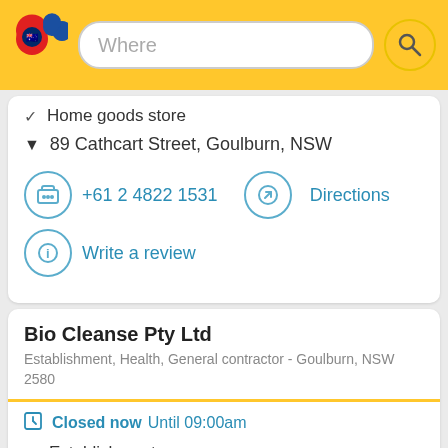[Figure (screenshot): Yellow Pages Australia app header with logo, search bar labeled 'Where', and search button]
Home goods store
89 Cathcart Street, Goulburn, NSW
+61 2 4822 1531
Directions
Write a review
Bio Cleanse Pty Ltd
Establishment, Health, General contractor - Goulburn, NSW 2580
Closed now Until 09:00am
Establishment
Health